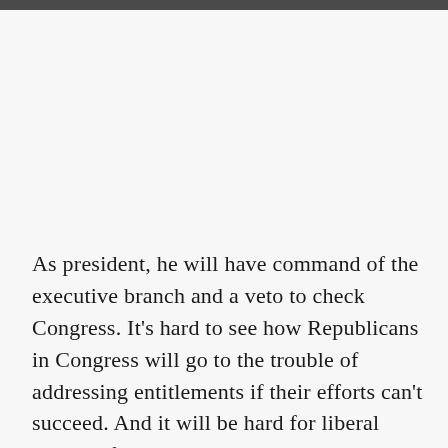As president, he will have command of the executive branch and a veto to check Congress. It's hard to see how Republicans in Congress will go to the trouble of addressing entitlements if their efforts can't succeed. And it will be hard for liberal elites to frustrate his policies.